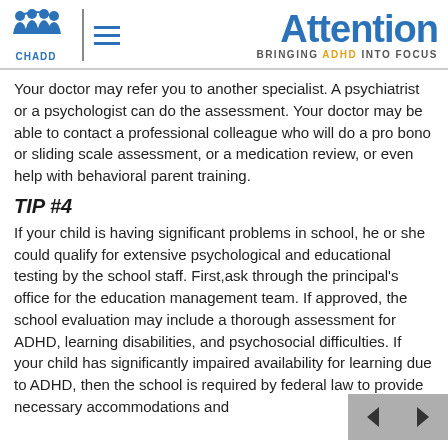CHADD | Attention – BRINGING ADHD INTO FOCUS
Your doctor may refer you to another specialist. A psychiatrist or a psychologist can do the assessment. Your doctor may be able to contact a professional colleague who will do a pro bono or sliding scale assessment, or a medication review, or even help with behavioral parent training.
TIP #4
If your child is having significant problems in school, he or she could qualify for extensive psychological and educational testing by the school staff. First,ask through the principal's office for the education management team. If approved, the school evaluation may include a thorough assessment for ADHD, learning disabilities, and psychosocial difficulties. If your child has significantly impaired availability for learning due to ADHD, then the school is required by federal law to provide necessary accommodations and